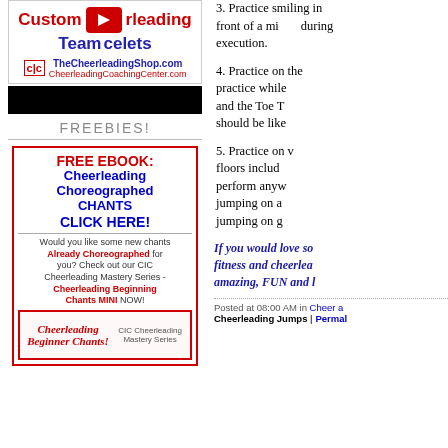[Figure (screenshot): Advertisement for Custom Cheerleading Team Bracelets with YouTube play button overlay. Shows TheCheerleadingShop.com and CheerleadingCoachingCenter.com logos.]
[Figure (screenshot): Black bar (video player controls area)]
FREEBIES!
[Figure (screenshot): FREE EBOOK: Cheerleading Choreographed CHANTS CLICK HERE! advertisement box with description and Cheerleading Beginner Chants image]
3. Practice smiling in front of a mirror during execution.
4. Practice on the ... practice while ... and the Toe T... should be li...
5. Practice on v... floors includ... perform anyw... jumping on a... jumping on g...
If you would love so... fitness and cheerlea... amazing, FUN and l...
Posted at 08:00 AM in Cheer a... Cheerleading Jumps | Permal...